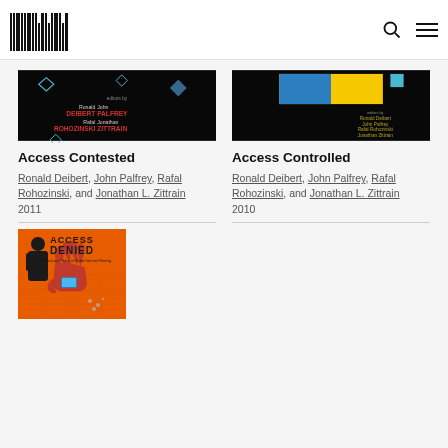MIT Press logo and navigation
[Figure (photo): Book cover for Access Contested - dark background with author names Ronald Deibert, John Palfrey, Rafal Rohozinski, Jonathan Zittrain and geometric diamond shapes]
Access Contested
Ronald Deibert, John Palfrey, Rafal Rohozinski, and Jonathan L. Zittrain
2011
[Figure (photo): Book cover for Access Controlled - dark background with blue and yellow geometric shapes and author names]
Access Controlled
Ronald Deibert, John Palfrey, Rafal Rohozinski, and Jonathan L. Zittrain
2010
[Figure (photo): Book cover for Access Denied - orange background with silhouette of person and large red hand with digital screen]